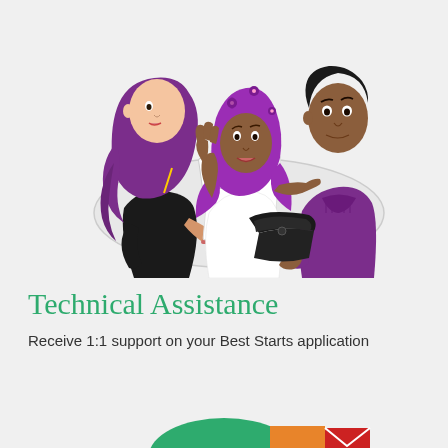[Figure (illustration): Illustration of three people sitting at a round table: a woman with long purple hair in a black outfit, a woman wearing a purple hijab with floral pattern pointing at papers, and a man in a purple turtleneck sweater. A black laptop is open on the table. They appear to be collaborating or discussing documents.]
Technical Assistance
Receive 1:1 support on your Best Starts application